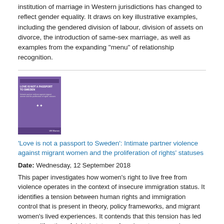institution of marriage in Western jurisdictions has changed to reflect gender equality. It draws on key illustrative examples, including the gendered division of labour, division of assets on divorce, the introduction of same-sex marriage, as well as examples from the expanding "menu" of relationship recognition.
[Figure (illustration): Book cover with purple background titled 'Love is not a passport to Sweden' with subtitle text about intimate partner violence against migrant women and the proliferation of rights statuses, with a small white icon in the center and UN Women logo at the bottom]
'Love is not a passport to Sweden': Intimate partner violence against migrant women and the proliferation of rights' statuses
Date: Wednesday, 12 September 2018
This paper investigates how women's right to live free from violence operates in the context of insecure immigration status. It identifies a tension between human rights and immigration control that is present in theory, policy frameworks, and migrant women's lived experiences. It contends that this tension has led to a proliferation of rights' statuses for migrant women who are exposed to intimate partner violence.